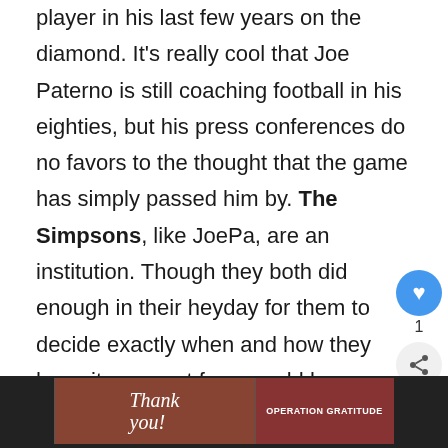player in his last few years on the diamond. It's really cool that Joe Paterno is still coaching football in his eighties, but his press conferences do no favors to the thought that the game has simply passed him by. The Simpsons, like JoePa, are an institution. Though they both did enough in their heyday for them to decide exactly when and how they hang it up, most fans would be pleased to see them gracefully ride into the sunset sooner rather than later.
[Figure (photo): Footer area with dark background containing an image with 'Thank You' text on the left and 'Operation Gratitude' logo/text on the right]